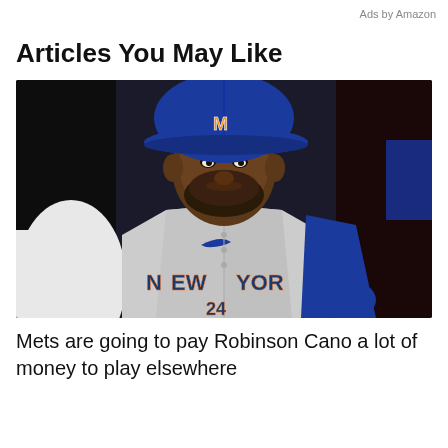Ads by Amazon
Articles You May Like
[Figure (photo): A New York Mets baseball player wearing a gray 'New York' jersey and blue Mets cap, photographed from the chest up against a dark background.]
Mets are going to pay Robinson Cano a lot of money to play elsewhere